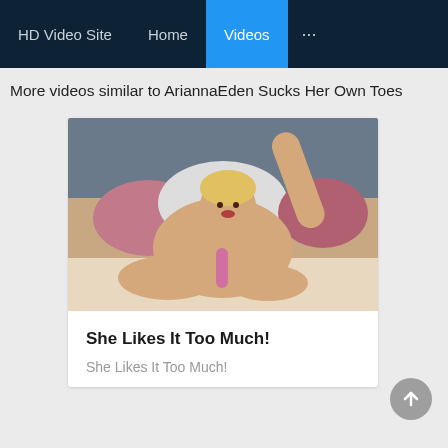HD Video Site   Home   Videos   ...
More videos similar to AriannaEden Sucks Her Own Toes
[Figure (photo): Thumbnail photo for video card]
She Likes It Too Much!
She Likes It Too Much!